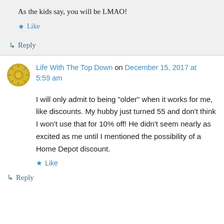As the kids say, you will be LMAO!
★ Like
↳ Reply
Life With The Top Down on December 15, 2017 at 5:59 am
I will only admit to being “older” when it works for me, like discounts. My hubby just turned 55 and don’t think I won’t use that for 10% off! He didn’t seem nearly as excited as me until I mentioned the possibility of a Home Depot discount.
★ Like
↳ Reply